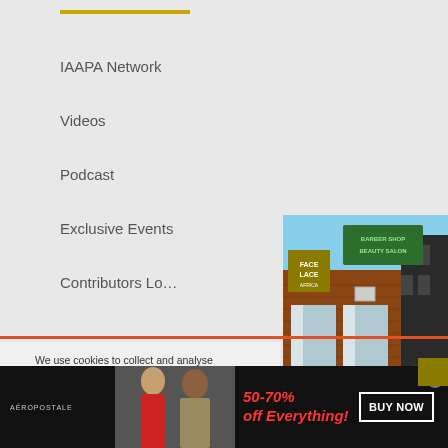IAAPA Network
Videos
Podcast
Exclusive Events
Contributors Lo...
Terms of Service | ...
Contributor's Guide...
Work@ Pana Geniu...
[Figure (photo): Exterior photo of a brick building with barber shop / beauty salon signage, shown in an article card with FACE LACE logo overlay and arrow navigation button]
The rich Black history of the Portland salon now on National
We use cookies to collect and analyse information on site performance and usage, and to enhance and customise content and advertising. By Clicking "Accept" or by clicking into any content...
[Figure (advertisement): Aeropostale advertisement banner showing two female models, 50-70% off Everything!, BUY NOW button, dark background]